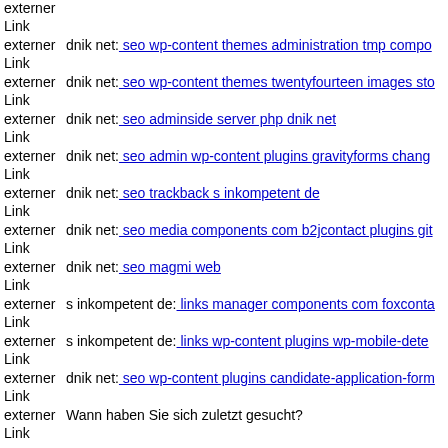externer Link (truncated top)
externer Link dnik net: seo wp-content themes administration tmp compo...
externer Link dnik net: seo wp-content themes twentyfourteen images sto...
externer Link dnik net: seo adminside server php dnik net
externer Link dnik net: seo admin wp-content plugins gravityforms chang...
externer Link dnik net: seo trackback s inkompetent de
externer Link dnik net: seo media components com b2jcontact plugins git...
externer Link dnik net: seo magmi web
externer Link s inkompetent de: links manager components com foxconta...
externer Link s inkompetent de: links wp-content plugins wp-mobile-dete...
externer Link dnik net: seo wp-content plugins candidate-application-form...
externer Link Wann haben Sie sich zuletzt gesucht?